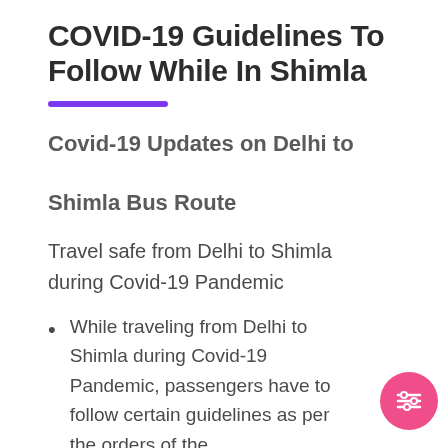COVID-19 Guidelines To Follow While In Shimla
Covid-19 Updates on Delhi to Shimla Bus Route
Travel safe from Delhi to Shimla during Covid-19 Pandemic
While traveling from Delhi to Shimla during Covid-19 Pandemic, passengers have to follow certain guidelines as per the orders of the